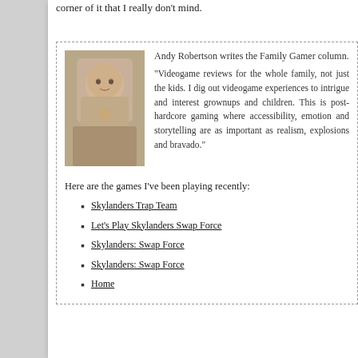corner of it that I really don't mind.
Andy Robertson writes the Family Gamer column.
[Figure (photo): Headshot photo of Andy Robertson, a man with glasses]
"Videogame reviews for the whole family, not just the kids. I dig out videogame experiences to intrigue and interest grownups and children. This is post-hardcore gaming where accessibility, emotion and storytelling are as important as realism, explosions and bravado."
Here are the games I've been playing recently:
Skylanders Trap Team
Let's Play Skylanders Swap Force
Skylanders: Swap Force
Skylanders: Swap Force
Home